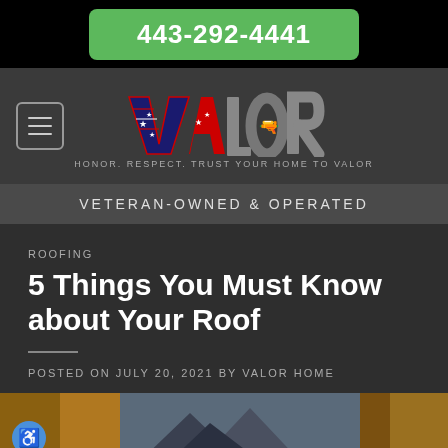443-292-4441
[Figure (logo): VALOR roofing company logo with American flag motif letters and tagline HONOR. RESPECT. TRUST YOUR HOME TO VALOR]
VETERAN-OWNED & OPERATED
ROOFING
5 Things You Must Know about Your Roof
POSTED ON JULY 20, 2021 BY VALOR HOME
[Figure (photo): Partial photo of a house roof with autumn foliage background]